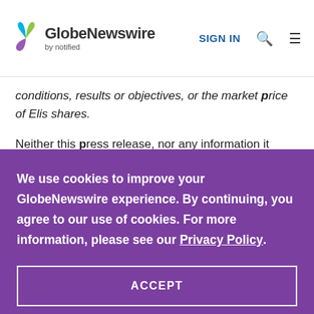GlobeNewswire by notified — SIGN IN
conditions, results or objectives, or the market price of Elis shares.
Neither this press release, nor any information it
We use cookies to improve your GlobeNewswire experience. By continuing, you agree to our use of cookies. For more information, please see our Privacy Policy.
ACCEPT